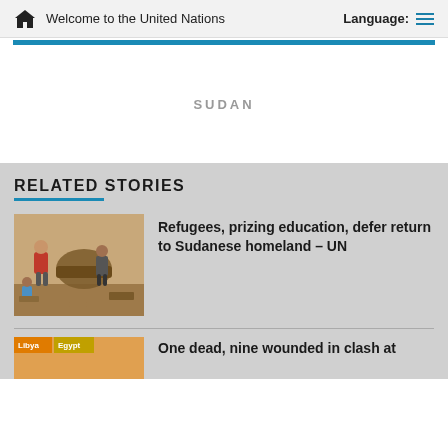Welcome to the United Nations   Language:
SUDAN
RELATED STORIES
[Figure (photo): People working on a structure, carrying baskets, related to Sudan refugees story]
Refugees, prizing education, defer return to Sudanese homeland – UN
One dead, nine wounded in clash at